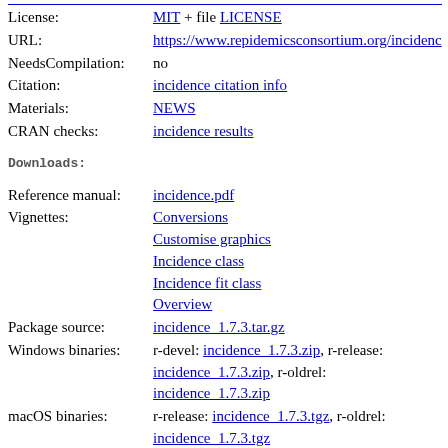License: MIT + file LICENSE
URL: https://www.repidemicsconsortium.org/incidence
NeedsCompilation: no
Citation: incidence citation info
Materials: NEWS
CRAN checks: incidence results
Downloads:
Reference manual: incidence.pdf
Vignettes: Conversions, Customise graphics, Incidence class, Incidence fit class, Overview
Package source: incidence_1.7.3.tar.gz
Windows binaries: r-devel: incidence_1.7.3.zip, r-release: incidence_1.7.3.zip, r-oldrel: incidence_1.7.3.zip
macOS binaries: r-release: incidence_1.7.3.tgz, r-oldrel: incidence_1.7.3.tgz
Old sources: incidence archive